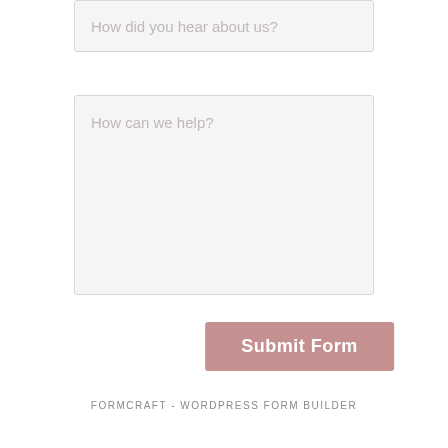[Figure (screenshot): A form input field with placeholder text 'How did you hear about us?' shown partially at top of page]
[Figure (screenshot): A large textarea form field with placeholder text 'How can we help?']
Submit Form
FORMCRAFT - WORDPRESS FORM BUILDER